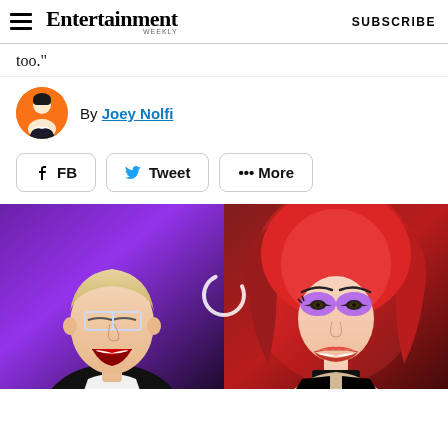Entertainment Weekly — SUBSCRIBE
too."
By Joey Nolfi
FB   Tweet   ••• More
[Figure (photo): Two-panel photo: left panel shows a laughing man with clear-frame glasses and white shirt against a purple background; right panel shows a drag queen with voluminous red hair and glamorous makeup smiling against a red background. A loading spinner icon appears at the center dividing line.]